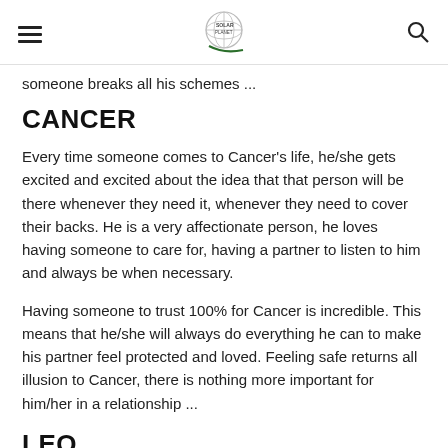[hamburger menu] [logo] [search icon]
someone breaks all his schemes ...
CANCER
Every time someone comes to Cancer's life, he/she gets excited and excited about the idea that that person will be there whenever they need it, whenever they need to cover their backs. He is a very affectionate person, he loves having someone to care for, having a partner to listen to him and always be when necessary.
Having someone to trust 100% for Cancer is incredible. This means that he/she will always do everything he can to make his partner feel protected and loved. Feeling safe returns all illusion to Cancer, there is nothing more important for him/her in a relationship ...
LEO
Leo is a strong person, he will always be the person who